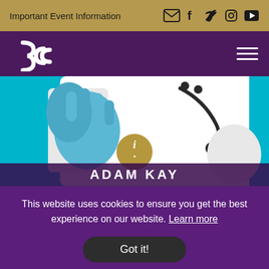Important Event Information
[Figure (logo): 3C logo in white on purple navigation bar]
[Figure (photo): Doctor in white lab coat and blue gloves holding a gold info button, with stethoscope, teal background. ADAM KAY text overlay at bottom.]
This website uses cookies to ensure you get the best experience on our website. Learn more
Got it!